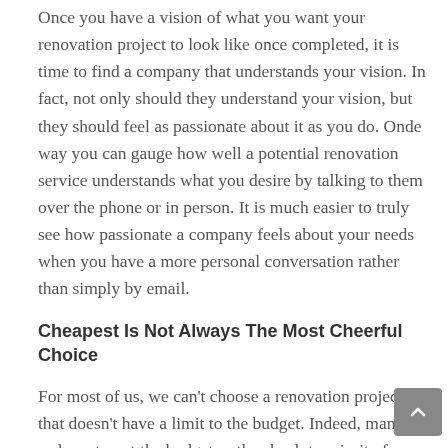Once you have a vision of what you want your renovation project to look like once completed, it is time to find a company that understands your vision. In fact, not only should they understand your vision, but they should feel as passionate about it as you do. Onde way you can gauge how well a potential renovation service understands what you desire by talking to them over the phone or in person. It is much easier to truly see how passionate a company feels about your needs when you have a more personal conversation rather than simply by email.
Cheapest Is Not Always The Most Cheerful Choice
For most of us, we can't choose a renovation project that doesn't have a limit to the budget. Indeed, many of us have to put the budget as the absolute priority for our budget. With this in mind, it is easy to opt for the choice that seems to be providing the lowest price. However, this is not always a wise idea. We may all